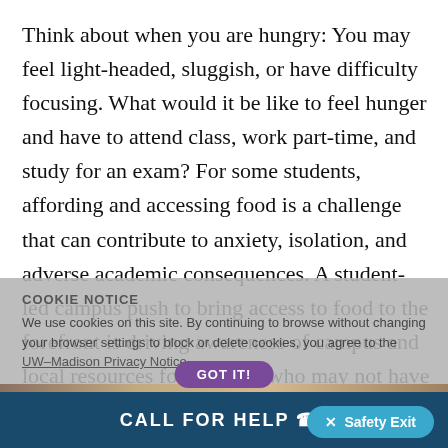Think about when you are hungry: You may feel light-headed, sluggish, or have difficulty focusing. What would it be like to feel hunger and have to attend class, work part-time, and study for an exam? For some students, affording and accessing food is a challenge that can contribute to anxiety, isolation, and adverse academic consequences. A student-led campus push to bring access to food to the forefront is driving awareness of campus and local resources for students who may not have enough to eat.
COOKIE NOTICE
We use cookies on this site. By continuing to browse without changing your browser settings to block or delete cookies, you agree to the UW–Madison Privacy Notice.
[Figure (photo): Partial photo of a campus food-related setting, partially obscured by cookie notice overlay]
GOT IT!
CALL FOR HELP
✕ Safety Exit